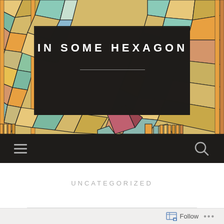[Figure (illustration): Colorful stained-glass mosaic pattern background with geometric shapes in gold, teal, orange, and mauve tones. A dark semi-transparent rectangle overlays the center containing the site title.]
IN SOME HEXAGON
[Figure (infographic): Dark navigation bar with hamburger menu icon on the left and search magnifying glass icon on the right]
UNCATEGORIZED
[Figure (infographic): Follow bar at bottom with a follow button icon and text 'Follow' and a '...' ellipsis menu]